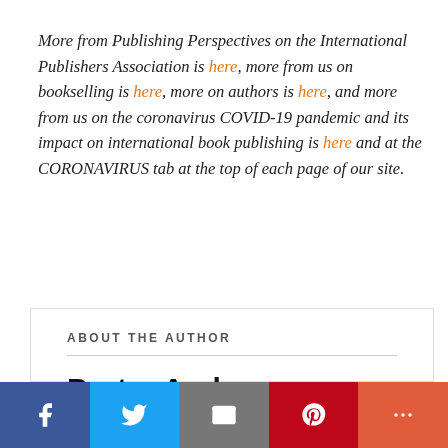More from Publishing Perspectives on the International Publishers Association is here, more from us on bookselling is here, more on authors is here, and more from us on the coronavirus COVID-19 pandemic and its impact on international book publishing is here and at the CORONAVIRUS tab at the top of each page of our site.
ABOUT THE AUTHOR
Porter Anderson
Facebook  Twitter  Google+
Porter Anderson is a non-resident fellow of Trends
[Figure (other): Social sharing bar at the bottom with Facebook, Twitter, Email, Pinterest, and More buttons]